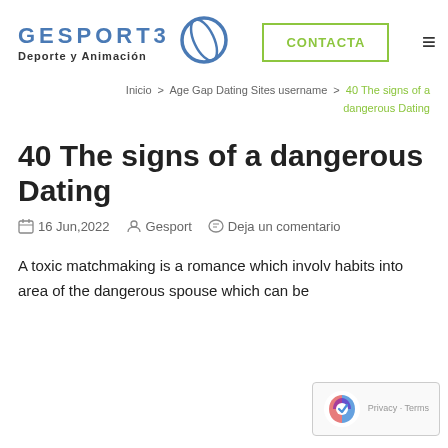GESPORT3 Deporte y Animación | CONTACTA
Inicio > Age Gap Dating Sites username > 40 The signs of a dangerous Dating
40 The signs of a dangerous Dating
16 Jun,2022   Gesport   Deja un comentario
A toxic matchmaking is a romance which involv habits into area of the dangerous spouse which can be